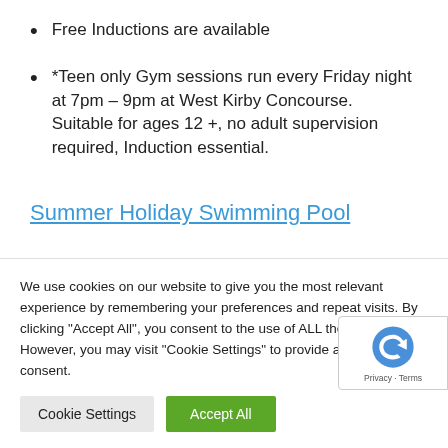Free Inductions are available
*Teen only Gym sessions run every Friday night at 7pm – 9pm at West Kirby Concourse. Suitable for ages 12 +, no adult supervision required, Induction essential.
Summer Holiday Swimming Pool
We use cookies on our website to give you the most relevant experience by remembering your preferences and repeat visits. By clicking "Accept All", you consent to the use of ALL the cookies. However, you may visit "Cookie Settings" to provide a controlled consent.